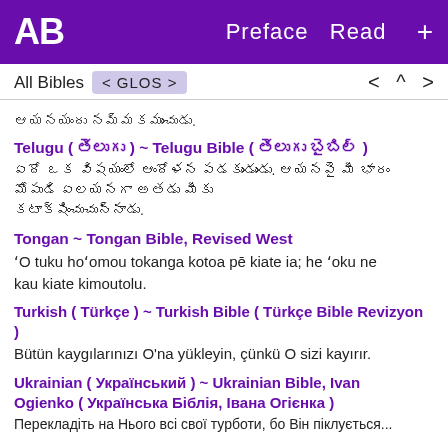AB   Preface  Read  +
All Bibles  < GLOS >    <  ^  >
ఆయనయందు నమ్మకముంచుడు.
Telugu ( తెలుగు ) ~ Telugu Bible ( తెలుగు బైబిల్ )
ఏదో ఒక విషయంలో ఆందోళన పడకుండుండు. ఆయనపై మీ భారం మోపుడి ఏలయనగా అతడు మీకు కటాక్షించుచున్నాడు.
Tongan ~ Tongan Bible, Revised West
'O tuku hoʻomou tokanga kotoa pē kiate ia; he ʻoku ne kau kiate kimoutolu.
Turkish ( Türkçe ) ~ Turkish Bible ( Türkçe Bible Revizyon )
Bütün kaygılarınızı O'na yükleyin, çünkü O sizi kayırır.
Ukrainian ( Український ) ~ Ukrainian Bible, Ivan Ogienko ( Українська Біблія, Івана Огієнка )
Перекладіть на Нього всі свої турботи, бо Він піклується...